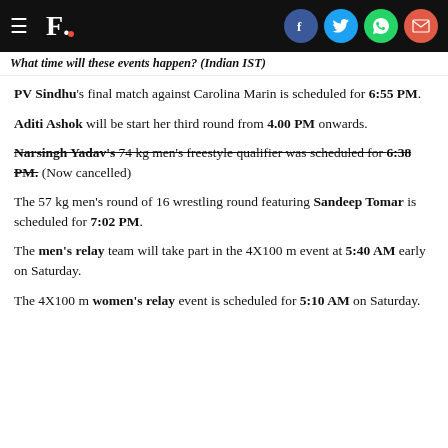F. [social share icons: Facebook, Twitter, WhatsApp, Email]
What time will these events happen? (Indian IST)
PV Sindhu's final match against Carolina Marin is scheduled for 6:55 PM.
Aditi Ashok will be start her third round from 4.00 PM onwards.
Narsingh Yadav's 74 kg men's freestyle qualifier was scheduled for 6:38 PM. (Now cancelled)
The 57 kg men's round of 16 wrestling round featuring Sandeep Tomar is scheduled for 7:02 PM.
The men's relay team will take part in the 4X100 m event at 5:40 AM early on Saturday.
The 4X100 m women's relay event is scheduled for 5:10 AM on Saturday.